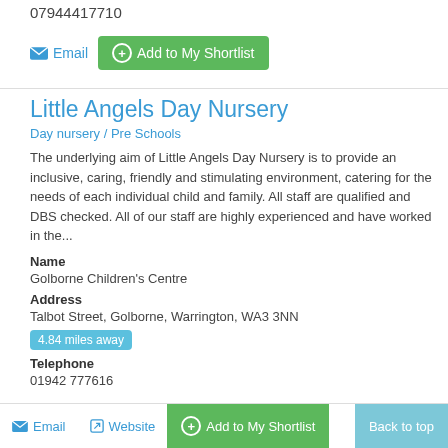07944417710
Email  Add to My Shortlist
Little Angels Day Nursery
Day nursery / Pre Schools
The underlying aim of Little Angels Day Nursery is to provide an inclusive, caring, friendly and stimulating environment, catering for the needs of each individual child and family. All staff are qualified and DBS checked. All of our staff are highly experienced and have worked in the...
Name
Golborne Children's Centre
Address
Talbot Street, Golborne, Warrington, WA3 3NN
4.84 miles away
Telephone
01942 777616
Email  Website  Add to My Shortlist  Back to top